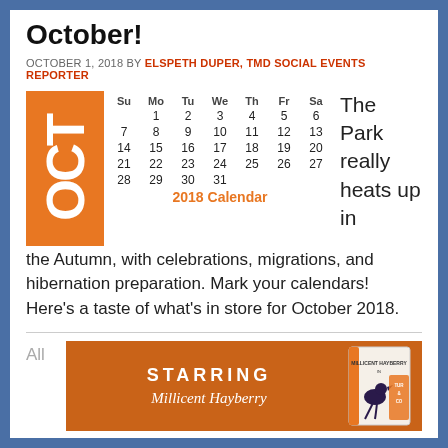October!
OCTOBER 1, 2018 BY ELSPETH DUPER, TMD SOCIAL EVENTS REPORTER
[Figure (other): October 2018 calendar grid with orange OCT vertical label on the left and text 'The Park really heats up in' on the right. Calendar shows full month of October 2018 with header '2018 Calendar' in orange.]
the Autumn, with celebrations, migrations, and hibernation preparation. Mark your calendars! Here's a taste of what's in store for October 2018.
All
[Figure (illustration): Orange banner with 'STARRING' in bold white letters and 'Millicent Hayberry' in italic white script, alongside a book cover illustration featuring a dark bird and 'TURACO' text on an orange spine.]